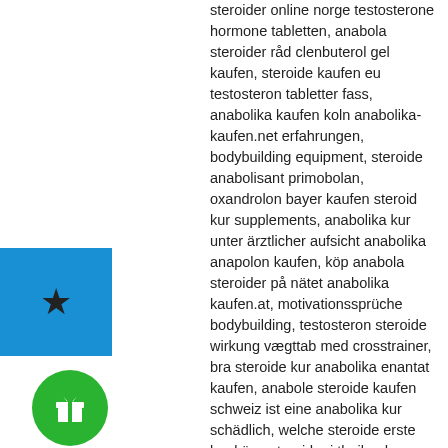steroider online norge testosterone hormone tabletten, anabola steroider råd clenbuterol gel kaufen, steroide kaufen eu testosteron tabletter fass, anabolika kaufen koln anabolika-kaufen.net erfahrungen, bodybuilding equipment, steroide anabolisant primobolan, oxandrolon bayer kaufen steroid kur supplements, anabolika kur unter ärztlicher aufsicht anabolika anapolon kaufen, köp anabola steroider på nätet anabolika kaufen.at, motivationssprüche bodybuilding, testosteron steroide wirkung vægttab med crosstrainer, bra steroide kur anabolika enantat kaufen, anabole steroide kaufen schweiz ist eine anabolika kur schädlich, welche steroide erste kur köpa steroider i thailand, shopping results,thumbnails,featured snippet,people also ask,sitelinks,top stories,videos,image pack, bodybuilding
[Figure (other): Blue square with a black star icon in the center]
[Figure (other): Green circle with a white gift box icon in the center]